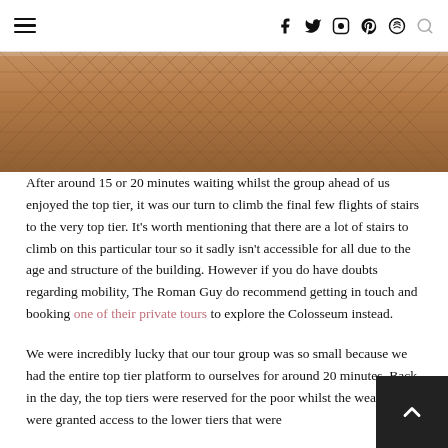≡   f  𝕏  Instagram  Pinterest  Spotify  🔍
[Figure (photo): Close-up photograph of a herringbone brick/cobblestone surface in warm brown tones, appearing to be a Roman architectural floor or wall detail.]
After around 15 or 20 minutes waiting whilst the group ahead of us enjoyed the top tier, it was our turn to climb the final few flights of stairs to the very top tier. It's worth mentioning that there are a lot of stairs to climb on this particular tour so it sadly isn't accessible for all due to the age and structure of the building. However if you do have doubts regarding mobility, The Roman Guy do recommend getting in touch and booking one of their private tours to explore the Colosseum instead.
We were incredibly lucky that our tour group was so small because we had the entire top tier platform to ourselves for around 20 minutes. Back in the day, the top tiers were reserved for the poor whilst the wealthier were granted access to the lower tiers that were